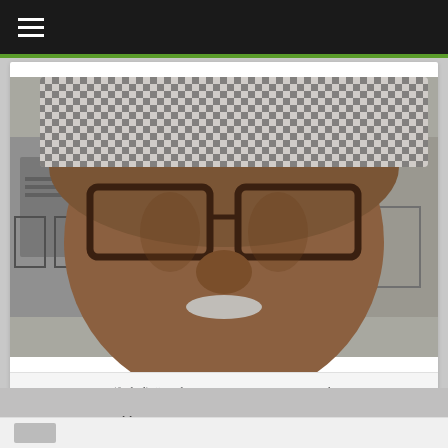☰ (navigation menu)
[Figure (photo): Close-up selfie of a man wearing large tortoise-shell glasses and a checkered hat, outdoors with patio furniture in the background.]
A (failed) “Hail Mary” to a Green Bay Packer!
← An Important Public Service Announcement!
Six feet apart, or six feet under? →
124 thoughts on “Jimmy Baldwin’s Eyes (and optimism)!”